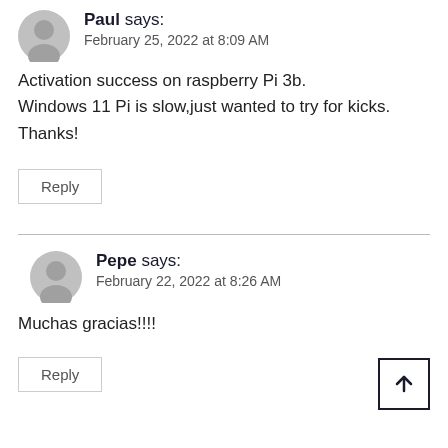Paul says: February 25, 2022 at 8:09 AM
Activation success on raspberry Pi 3b. Windows 11 Pi is slow,just wanted to try for kicks. Thanks!
Reply
Pepe says: February 22, 2022 at 8:26 AM
Muchas gracias!!!!
Reply